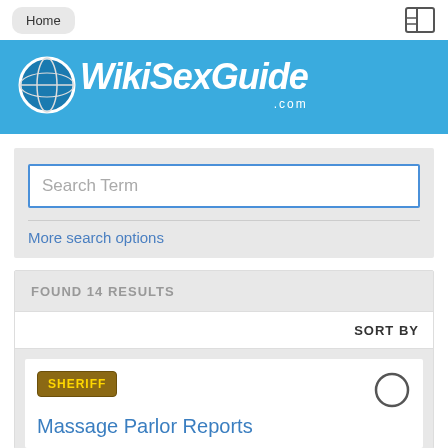Home
[Figure (logo): WikiSexGuide.com logo with globe icon on blue background]
Search Term
More search options
FOUND 14 RESULTS
SORT BY
[Figure (photo): Sheriff badge icon]
Massage Parlor Reports